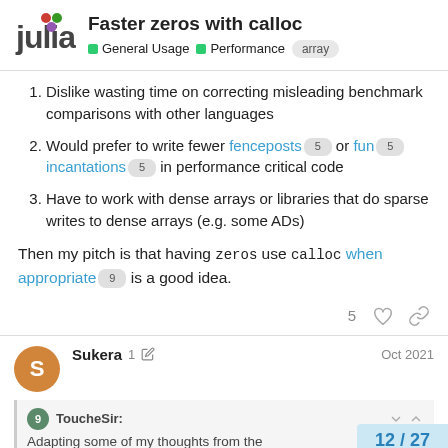Faster zeros with calloc — General Usage · Performance · array
Dislike wasting time on correcting misleading benchmark comparisons with other languages
Would prefer to write fewer fenceposts 5 or fun 5 incantations 5 in performance critical code
Have to work with dense arrays or libraries that do sparse writes to dense arrays (e.g. some ADs)
Then my pitch is that having zeros use calloc when appropriate 9 is a good idea.
Sukera · 1 · Oct 2021
ToucheSir:
Adapting some of my thoughts from the
12 / 27